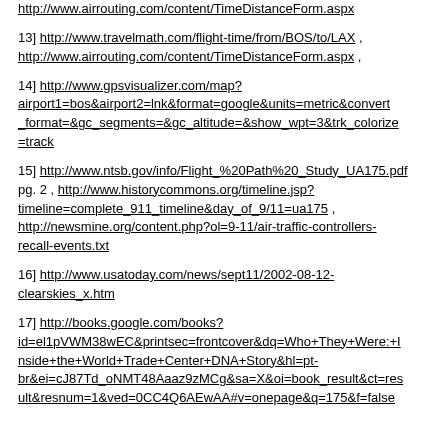http://www.airrouting.com/content/TimeDistanceForm.aspx
13] http://www.travelmath.com/flight-time/from/BOS/to/LAX , http://www.airrouting.com/content/TimeDistanceForm.aspx ,
14] http://www.gpsvisualizer.com/map?airport1=bos&airport2=lnk&format=google&units=metric&convert_format=&gc_segments=&gc_altitude=&show_wpt=3&trk_colorize=track
15] http://www.ntsb.gov/info/Flight_%20Path%20_Study_UA175.pdf pg. 2 , http://www.historycommons.org/timeline.jsp?timeline=complete_911_timeline&day_of_9/11=ua175 , http://newsmine.org/content.php?ol=9-11/air-traffic-controllers-recall-events.txt
16] http://www.usatoday.com/news/sept11/2002-08-12-clearskies_x.htm
17] http://books.google.com/books?id=el1pVWM38wEC&printsec=frontcover&dq=Who+They+Were:+Inside+the+World+Trade+Center+DNA+Story&hl=pt-br&ei=cJ87Td_oNMT48Aaaz9zMCg&sa=X&oi=book_result&ct=result&resnum=1&ved=0CC4Q6AEwAA#v=onepage&q=175&f=false